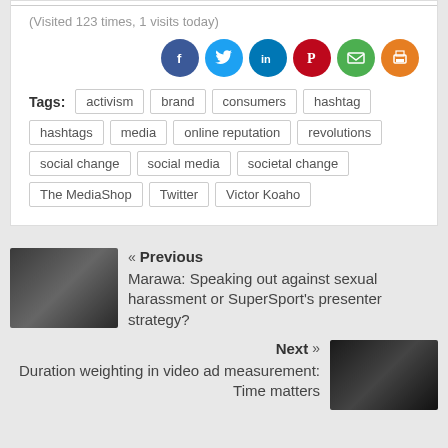(Visited 123 times, 1 visits today)
[Figure (infographic): Row of social media share icons: Facebook (dark blue), Twitter (light blue), LinkedIn (blue), Pinterest (red), Email (green), Print (orange)]
Tags: activism, brand, consumers, hashtag, hashtags, media, online reputation, revolutions, social change, social media, societal change, The MediaShop, Twitter, Victor Koaho
[Figure (photo): Thumbnail photo of a man in dark clothing on a sports field]
« Previous
Marawa: Speaking out against sexual harassment or SuperSport's presenter strategy?
[Figure (photo): Thumbnail photo of a hand holding a smartphone showing a video]
Next »
Duration weighting in video ad measurement: Time matters